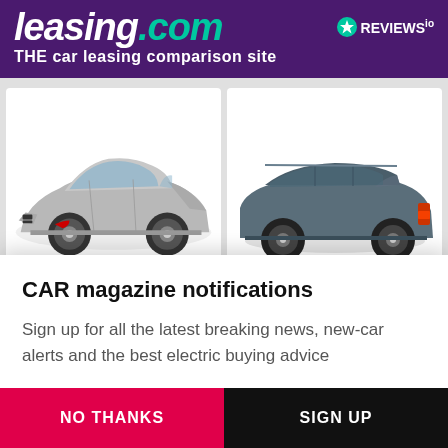leasing.com — THE car leasing comparison site
[Figure (photo): Two BMW car images side by side — left: silver BMW 5 Series sedan front three-quarter view, right: dark blue/grey BMW SUV rear three-quarter view]
CAR magazine notifications
Sign up for all the latest breaking news, new-car alerts and the best electric buying advice
NO THANKS
SIGN UP